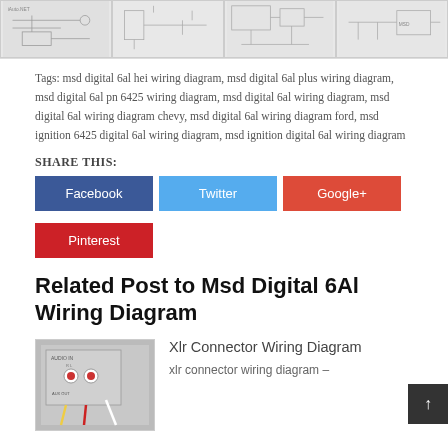[Figure (schematic): Strip of four small wiring diagram thumbnail images at the top of the page]
Tags: msd digital 6al hei wiring diagram, msd digital 6al plus wiring diagram, msd digital 6al pn 6425 wiring diagram, msd digital 6al wiring diagram, msd digital 6al wiring diagram chevy, msd digital 6al wiring diagram ford, msd ignition 6425 digital 6al wiring diagram, msd ignition digital 6al wiring diagram
SHARE THIS:
[Figure (infographic): Share buttons: Facebook (blue), Twitter (light blue), Google+ (red/orange), Pinterest (red)]
Related Post to Msd Digital 6Al Wiring Diagram
[Figure (photo): Thumbnail image of an XLR audio connector wiring panel with audio cables]
Xlr Connector Wiring Diagram
xlr connector wiring diagram –